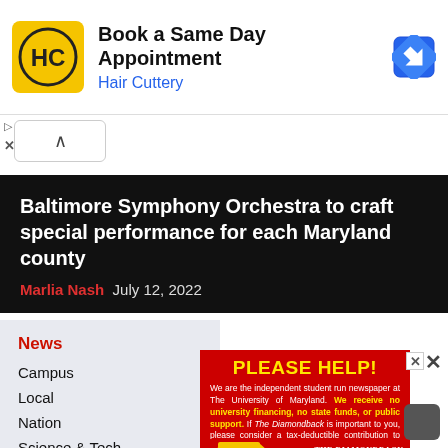[Figure (screenshot): Advertisement banner for Hair Cuttery showing logo, 'Book a Same Day Appointment' text, and navigation arrow icon]
Baltimore Symphony Orchestra to craft special performance for each Maryland county
Marlia Nash  July 12, 2022
News
Campus
Local
Nation
Science & Tech
State
World
[Figure (other): Red advertisement overlay for The Diamondback newspaper. Heading: PLEASE HELP! Body: We are the independent student run newspaper at The University of Maryland. We receive no university financing, no state funds, or public support. If The Diamondback is important to you, please consider a tax-deductible contribution to help us make ends meet. Thank you. Footer: CLICK HERE and THE DIAMONDBACK logo.]